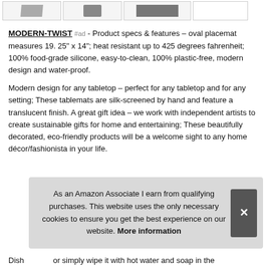[Figure (photo): Row of four product thumbnail images in bordered boxes]
MODERN-TWIST #ad - Product specs & features – oval placemat measures 19. 25" x 14"; heat resistant up to 425 degrees fahrenheit; 100% food-grade silicone, easy-to-clean, 100% plastic-free, modern design and water-proof.
Modern design for any tabletop – perfect for any tabletop and for any setting; These tablemats are silk-screened by hand and feature a translucent finish. A great gift idea – we work with independent artists to create sustainable gifts for home and entertaining; These beautifully decorated, eco-friendly products will be a welcome sight to any home décor/fashionista in your life.
As an Amazon Associate I earn from qualifying purchases. This website uses the only necessary cookies to ensure you get the best experience on our website. More information
Dishwasher, or simply wipe it with hot water and soap in the